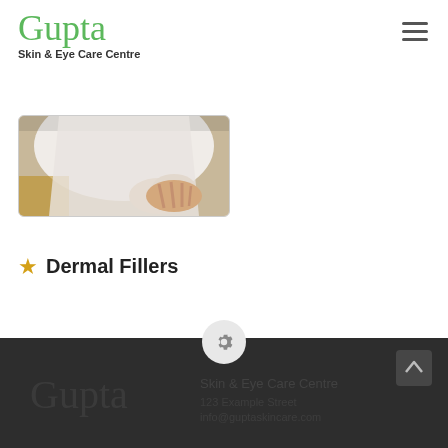[Figure (logo): Gupta Skin & Eye Care Centre logo with green cursive script and subtitle]
[Figure (photo): Partial image of a patient examination, showing hands/torso area, cropped at top]
★ Dermal Fillers
[Figure (other): Horizontal divider line with a gear/settings icon circle centered on it]
[Figure (photo): Dark footer background with faint imagery and a back-to-top arrow button]